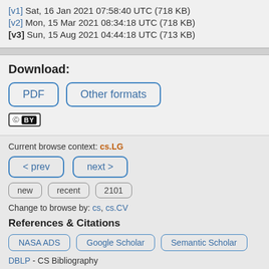[v1] Sat, 16 Jan 2021 07:58:40 UTC (718 KB)
[v2] Mon, 15 Mar 2021 08:34:18 UTC (718 KB)
[v3] Sun, 15 Aug 2021 04:44:18 UTC (713 KB)
Download:
PDF | Other formats
[Figure (other): Creative Commons CC BY license badge]
Current browse context: cs.LG
< prev | next >
new | recent | 2101
Change to browse by: cs, cs.CV
References & Citations
NASA ADS | Google Scholar | Semantic Scholar
DBLP - CS Bibliography
listing | bibtex